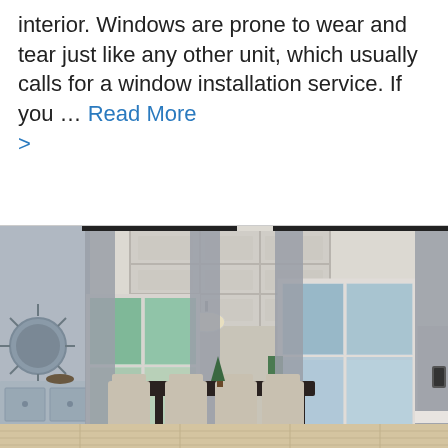interior. Windows are prone to wear and tear just like any other unit, which usually calls for a window installation service. If you … Read More >
[Figure (photo): Interior photo of a modern dining room with large windows, gray curtains, coffered ceiling, pendant light, a dining table with upholstered chairs, a sideboard with decorative items, hardwood floors, and a view of outdoor greenery and water.]